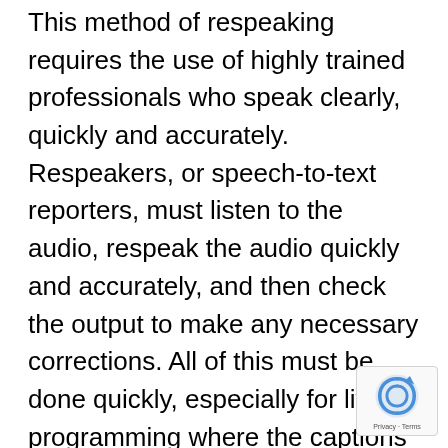This method of respeaking requires the use of highly trained professionals who speak clearly, quickly and accurately. Respeakers, or speech-to-text reporters, must listen to the audio, respeak the audio quickly and accurately, and then check the output to make any necessary corrections. All of this must be done quickly, especially for live programming where the captions must appear in time with the live audio.
Due to the vocal strain from respeaking, respeakers are only advised to do 15-minute stints at a time. For live programming, broadcasters must have a team of